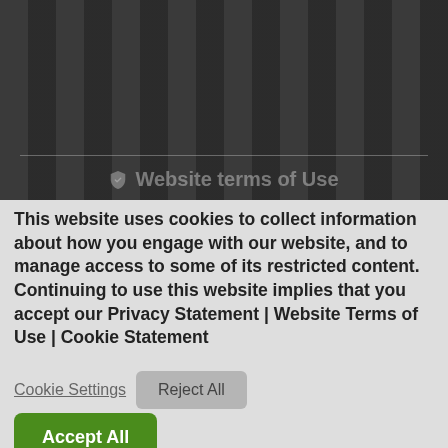[Figure (screenshot): Dark striped background header area with vertical column pattern in dark grey]
Website terms of Use
This website uses cookies to collect information about how you engage with our website, and to manage access to some of its restricted content. Continuing to use this website implies that you accept our Privacy Statement | Website Terms of Use | Cookie Statement
played on our website is personal information in terms of the Protection of Personal Information Act, and may not be incorporated into any filing system for any purpose.
Cookie Settings
Reject All
Accept All